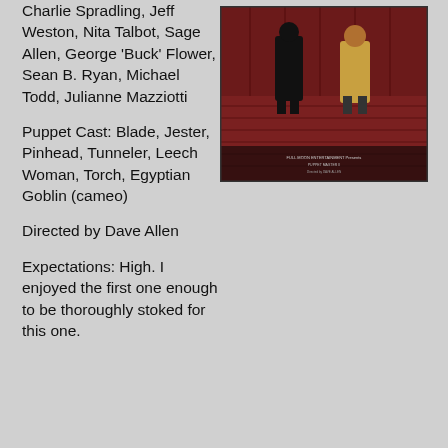Charlie Spradling, Jeff Weston, Nita Talbot, Sage Allen, George 'Buck' Flower, Sean B. Ryan, Michael Todd, Julianne Mazziotti
[Figure (photo): Movie poster/VHS cover image showing figures in a dark red theatrical setting]
Puppet Cast: Blade, Jester, Pinhead, Tunneler, Leech Woman, Torch, Egyptian Goblin (cameo)
Directed by Dave Allen
Expectations: High. I enjoyed the first one enough to be thoroughly stoked for this one.